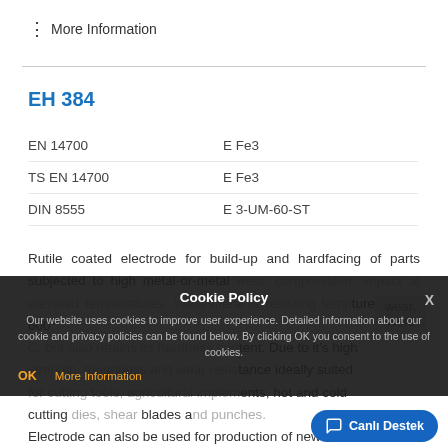⋮ More Information
EH 384
| Standard | Value |
| --- | --- |
| EN 14700 | E Fe3 |
| TS EN 14700 | E Fe3 |
| DIN 8555 | E 3-UM-60-ST |
Rutile coated electrode for build-up and hardfacing of parts subjected to high metal-or-metal wear, compression, impact at elevated temperatures. Weld metal is resistant to operating temperatures up to 600° C, but also retains its hardness content. Due to it's high strength, toughness and wear resistance ideally suited for cutting tools, agricultural implements, hot and cold cutting dies, shear blades and punches. Electrode can also be used for production of new hot and